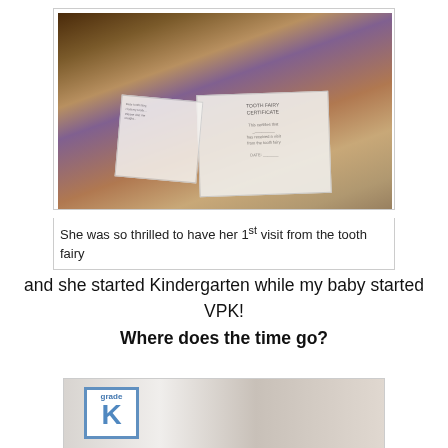[Figure (photo): Young girl sitting on a couch holding a letter and a tooth fairy certificate, smiling at the camera]
She was so thrilled to have her 1st visit from the tooth fairy
and she started Kindergarten while my baby started VPK!
Where does the time go?
[Figure (photo): Two children standing together, one holding a sign]